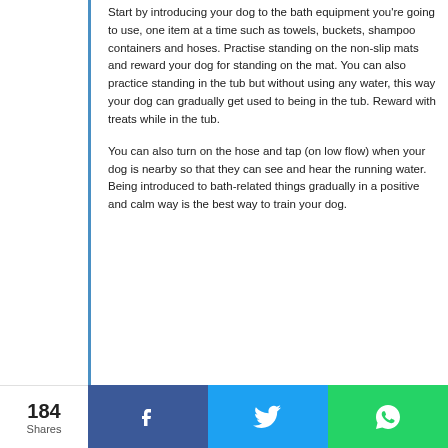Start by introducing your dog to the bath equipment you're going to use, one item at a time such as towels, buckets, shampoo containers and hoses. Practise standing on the non-slip mats and reward your dog for standing on the mat. You can also practice standing in the tub but without using any water, this way your dog can gradually get used to being in the tub. Reward with treats while in the tub.

You can also turn on the hose and tap (on low flow) when your dog is nearby so that they can see and hear the running water. Being introduced to bath-related things gradually in a positive and calm way is the best way to train your dog.
184 Shares